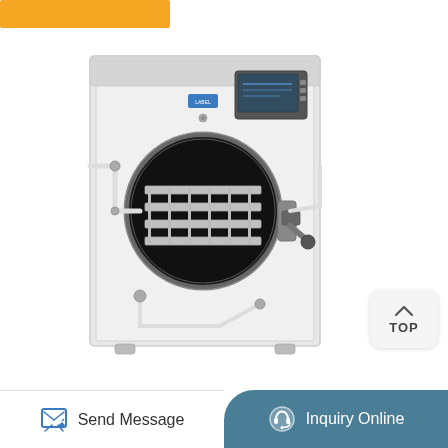[Figure (photo): Orange decorative bar at top left of page]
[Figure (photo): Front view of a laboratory freeze dryer / lyophilizer machine with circular door showing internal trays, digital control panel on top right, white metal cabinet body, tubing connections, and locking handle]
[Figure (other): TOP navigation button with upward chevron arrow in a rounded rectangle]
Send Message
Inquiry Online